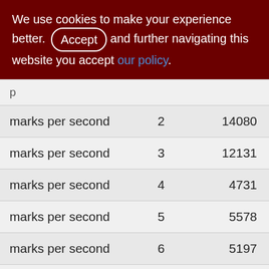We use cookies to make your experience better. By accepting and further navigating this website you accept our policy.
| marks per second | 2 | 14080 |
| marks per second | 3 | 12131 |
| marks per second | 4 | 4731 |
| marks per second | 5 | 5578 |
| marks per second | 6 | 5197 |
| marks per second | 7 | 5508 |
| marks per second | 8 |  |
| marks per second | 9 | 1161 |